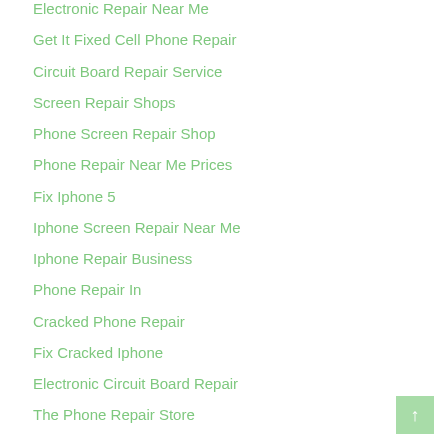Electronic Repair Near Me
Get It Fixed Cell Phone Repair
Circuit Board Repair Service
Screen Repair Shops
Phone Screen Repair Shop
Phone Repair Near Me Prices
Fix Iphone 5
Iphone Screen Repair Near Me
Iphone Repair Business
Phone Repair In
Cracked Phone Repair
Fix Cracked Iphone
Electronic Circuit Board Repair
The Phone Repair Store